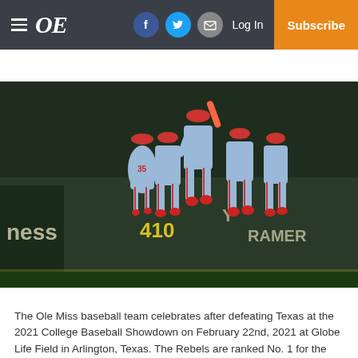OE — Log In — Subscribe (navigation bar with hamburger menu, Facebook, Twitter, mail icons)
[Figure (photo): Ole Miss baseball players in light blue uniforms with red caps jumping and celebrating on a baseball field outfield. A player wearing number 35 is visible. The outfield wall shows '410' distance marker and partial text 'ness' and 'RAMER'. The stadium background is dark green.]
The Ole Miss baseball team celebrates after defeating Texas at the 2021 College Baseball Showdown on February 22nd, 2021 at Globe Life Field in Arlington, Texas. The Rebels are ranked No. 1 for the first time in program